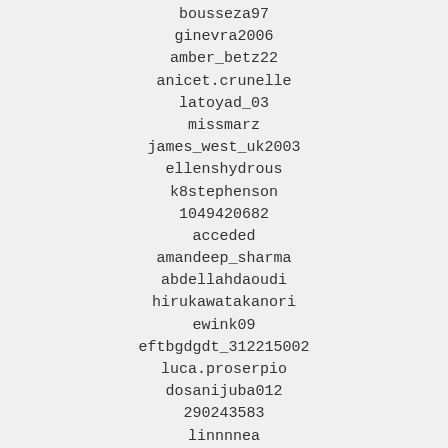bousseza97
ginevra2006
amber_betz22
anicet.crunelle
latoyad_03
missmarz
james_west_uk2003
ellenshydrous
k8stephenson
1049420682
acceded
amandeep_sharma
abdellahdaoudi
hirukawatakanori
ewink09
eftbgdgdt_312215002
luca.proserpio
dosanijuba012
290243583
linnnnea
chase_chambers19s
kenjiro1996
martin031021
jonasclo3